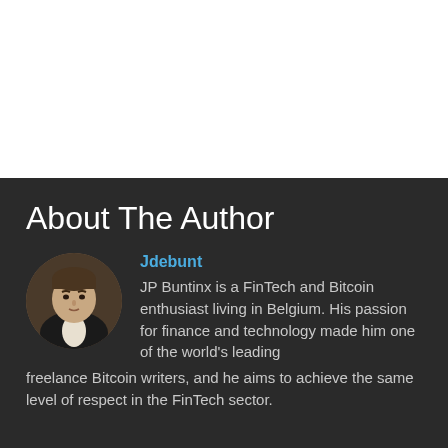About The Author
[Figure (photo): Circular portrait photo of JP Buntinx, a man in a dark jacket with a light shirt, photographed indoors.]
Jdebunt
JP Buntinx is a FinTech and Bitcoin enthusiast living in Belgium. His passion for finance and technology made him one of the world's leading freelance Bitcoin writers, and he aims to achieve the same level of respect in the FinTech sector.